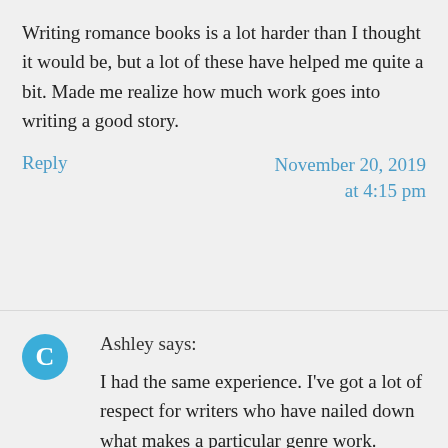Writing romance books is a lot harder than I thought it would be, but a lot of these have helped me quite a bit. Made me realize how much work goes into writing a good story.
Reply    November 20, 2019 at 4:15 pm
[Figure (logo): Blue circle avatar with letter C icon]
Ashley says:
I had the same experience. I've got a lot of respect for writers who have nailed down what makes a particular genre work.